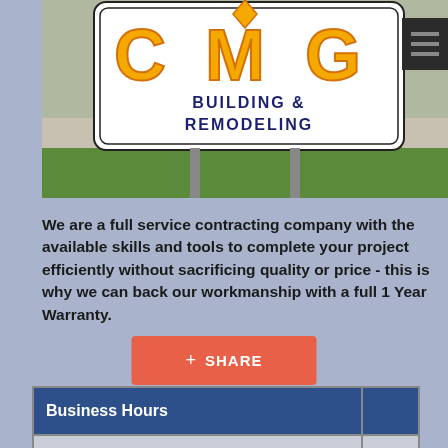[Figure (photo): Outdoor sign for CMG Building & Remodeling with yellow 3D block letters on a white sign with navy text reading BUILDING & REMODELING, placed on a grass lawn with gravel border. A dark hamburger menu button is visible in the upper right.]
We are a full service contracting company with the available skills and tools to complete your project efficiently without sacrificing quality or price - this is why we can back our workmanship with a full 1 Year Warranty.
+ SHARE
| Business Hours |  |
| --- | --- |
|  |  |